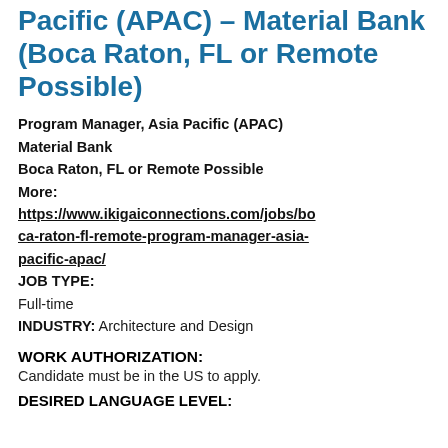Pacific (APAC) – Material Bank (Boca Raton, FL or Remote Possible)
Program Manager, Asia Pacific (APAC)
Material Bank
Boca Raton, FL or Remote Possible
More:
https://www.ikigaiconnections.com/jobs/boca-raton-fl-remote-program-manager-asia-pacific-apac/
JOB TYPE:
Full-time
INDUSTRY: Architecture and Design
WORK AUTHORIZATION:
Candidate must be in the US to apply.
DESIRED LANGUAGE LEVEL: